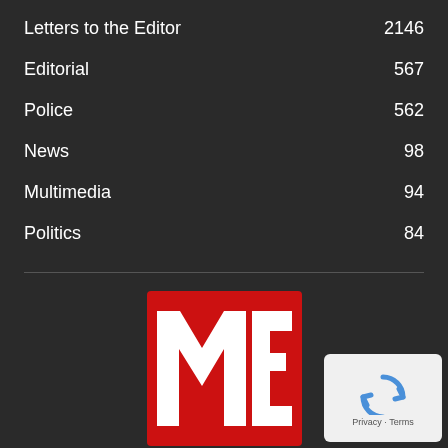Letters to the Editor  2146
Editorial  567
Police  562
News  98
Multimedia  94
Politics  84
[Figure (logo): ME logo — red square with white block letters M and E]
[Figure (other): Google reCAPTCHA privacy badge with rotating arrows icon and Privacy · Terms text]